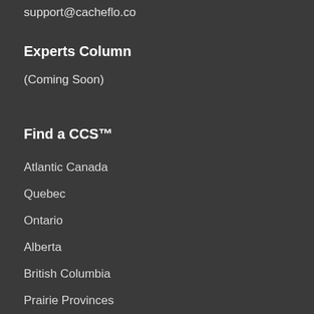support@cacheflo.co
Experts Column
(Coming Soon)
Find a CCS™
Atlantic Canada
Quebec
Ontario
Alberta
British Columbia
Prairie Provinces